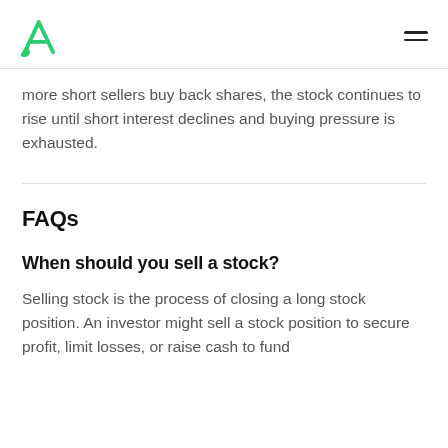Alpaca logo and navigation menu
more short sellers buy back shares, the stock continues to rise until short interest declines and buying pressure is exhausted.
FAQs
When should you sell a stock?
Selling stock is the process of closing a long stock position. An investor might sell a stock position to secure profit, limit losses, or raise cash to fund